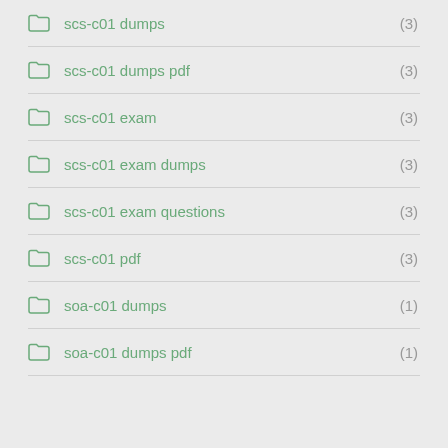scs-c01 dumps (3)
scs-c01 dumps pdf (3)
scs-c01 exam (3)
scs-c01 exam dumps (3)
scs-c01 exam questions (3)
scs-c01 pdf (3)
soa-c01 dumps (1)
soa-c01 dumps pdf (1)